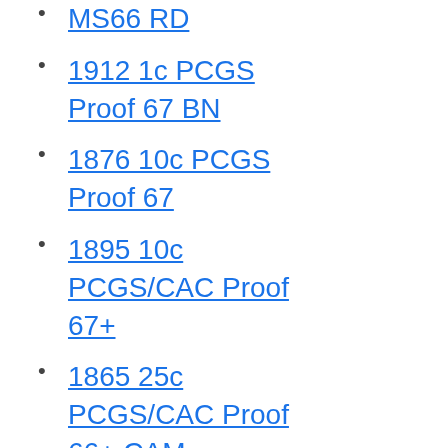MS66 RD
1912 1c PCGS Proof 67 BN
1876 10c PCGS Proof 67
1895 10c PCGS/CAC Proof 67+
1865 25c PCGS/CAC Proof 66+ CAM
1872 25c PCGS/CAC Proof 67+
1889 25c PCGS Proof 67+